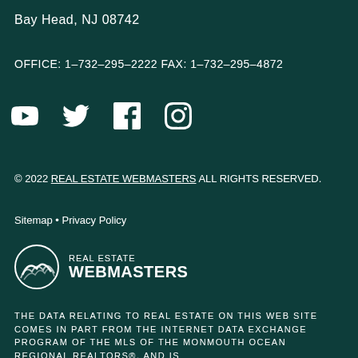Bay Head, NJ 08742
OFFICE: 1-732-295-2222 FAX: 1-732-295-4872
[Figure (illustration): Social media icons: YouTube, Twitter, Facebook, Instagram]
© 2022 REAL ESTATE WEBMASTERS ALL RIGHTS RESERVED.
Sitemap • Privacy Policy
[Figure (logo): Real Estate Webmasters logo with mountain/wave icon and text REAL ESTATE WEBMASTERS]
THE DATA RELATING TO REAL ESTATE ON THIS WEB SITE COMES IN PART FROM THE INTERNET DATA EXCHANGE PROGRAM OF THE MLS OF THE MONMOUTH OCEAN REGIONAL REALTORS®, AND IS